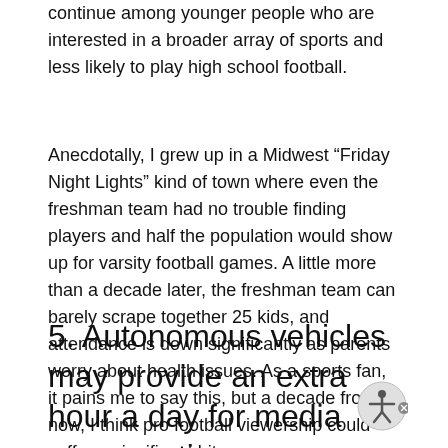continue among younger people who are interested in a broader array of sports and less likely to play high school football.
Anecdotally, I grew up in a Midwest “Friday Night Lights” kind of town where even the freshman team had no trouble finding players and half the population would show up for varsity football games. A little more than a decade later, the freshman team can barely scrape together 25 kids, and attendance is down significantly as parents worry about health issues. As a sports fan, it pains me to say this, but a decade from now, I think pro football viewership could suffer a significant hit.
5. Autonomous vehicles may provide an extra hour a day for media consumption.